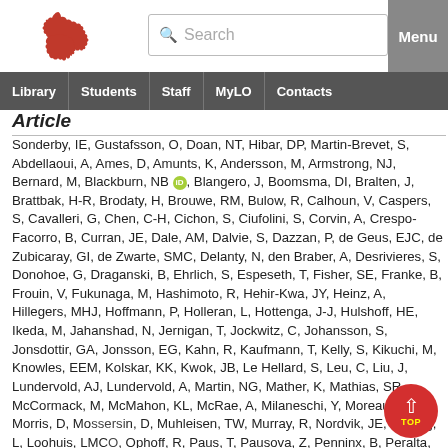University website header with logo, search bar, Menu button, and navigation: Library, Students, Staff, MyLO, Contacts
Article
Sonderby, IE, Gustafsson, O, Doan, NT, Hibar, DP, Martin-Brevet, S, Abdellaoui, A, Ames, D, Amunts, K, Andersson, M, Armstrong, NJ, Bernard, M, Blackburn, NB [ORCID], Blangero, J, Boomsma, DI, Bralten, J, Brattbak, H-R, Brodaty, H, Brouwe, RM, Bulow, R, Calhoun, V, Caspers, S, Cavalleri, G, Chen, C-H, Cichon, S, Ciufolini, S, Corvin, A, Crespo-Facorro, B, Curran, JE, Dale, AM, Dalvie, S, Dazzan, P, de Geus, EJC, de Zubicaray, GI, de Zwarte, SMC, Delanty, N, den Braber, A, Desrivieres, S, Donohoe, G, Draganski, B, Ehrlich, S, Espeseth, T, Fisher, SE, Franke, B, Frouin, V, Fukunaga, M, Hashimoto, R, Hehir-Kwa, JY, Heinz, A, Hillegers, MHJ, Hoffmann, P, Holleran, L, Hottenga, J-J, Hulshoff, HE, Ikeda, M, Jahanshad, N, Jernigan, T, Jockwitz, C, Johansson, S, Jonsdottir, GA, Jonsson, EG, Kahn, R, Kaufmann, T, Kelly, S, Kikuchi, M, Knowles, EEM, Kolskar, KK, Kwok, JB, Le Hellard, S, Leu, C, Liu, J, Lundervold, AJ, Lundervold, A, Martin, NG, Mather, K, Mathias, SR, McCormack, M, McMahon, KL, McRae, A, Milaneschi, Y, Moreau, C, Morris, D, Mossersin, D, Muhleisen, TW, Murray, R, Nordvik, JE, Nyberg, L, Loohuis, LMCO, Ophoff, R, Paus, T, Pausova, Z, Penninx, B, Peralta, JM, Pike, B, Prieto, C, Pudas, S, Quinlan, E, Quintana, DS, Reinbold, CS, Reis Marques, T, Rommelse, A, Richard, G, Rodrigue, Heroux, R, Ruiz-Santiago, R...